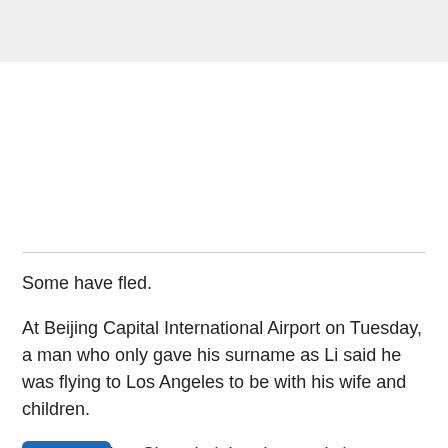Some have fled.
At Beijing Capital International Airport on Tuesday, a man who only gave his surname as Li said he was flying to Los Angeles to be with his wife and children.
"It [had as Shanghai, but the restrictions